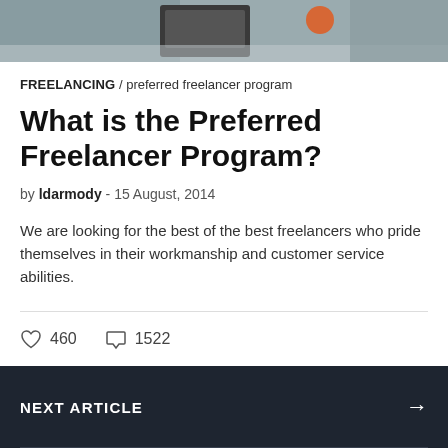[Figure (photo): Partial photo strip at top of page showing people working, a computer/monitor visible, blurred background]
FREELANCING / preferred freelancer program
What is the Preferred Freelancer Program?
by ldarmody - 15 August, 2014
We are looking for the best of the best freelancers who pride themselves in their workmanship and customer service abilities.
460  1522
NEXT ARTICLE →